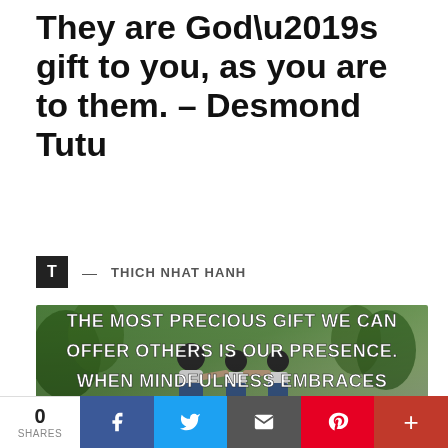They are God’s gift to you, as you are to them. – Desmond Tutu
T — THICH NHAT HANH
[Figure (photo): Photo of a family (father, daughter, son) playing outdoors with trees in background, overlaid with bold white text quote by Thich Nhat Hanh: THE MOST PRECIOUS GIFT WE CAN OFFER OTHERS IS OUR PRESENCE. WHEN MINDFULNESS EMBRACES THOSE WE LOVE, THEY WILL]
0 SHARES | Facebook | Twitter | Email | Pinterest | More